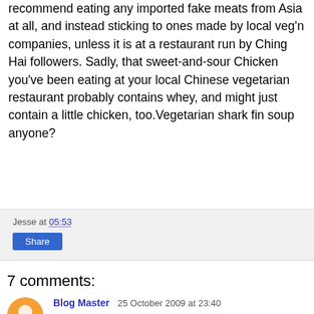recommend eating any imported fake meats from Asia at all, and instead sticking to ones made by local veg'n companies, unless it is at a restaurant run by Ching Hai followers. Sadly, that sweet-and-sour Chicken you've been eating at your local Chinese vegetarian restaurant probably contains whey, and might just contain a little chicken, too.Vegetarian shark fin soup anyone?
Jesse at 05:53
Share
7 comments:
Blog Master  25 October 2009 at 23:40
The fake meat here in Thailand is made here in Thailand and not Taiwan. I will check for the ingredients to see if they use whey or animal products.
Reply